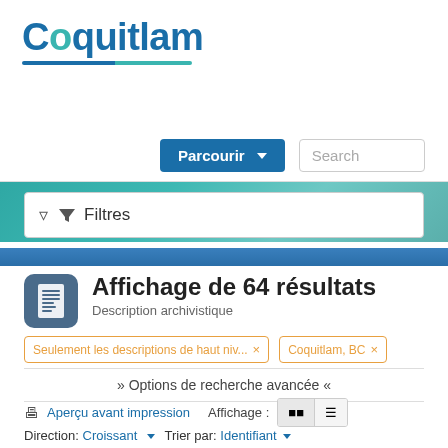Coquitlam
Parcourir  Search
[Figure (screenshot): Filtres (Filters) search panel with filter funnel icon]
Affichage de 64 résultats
Description archivistique
Seulement les descriptions de haut niv... ×   Coquitlam, BC ×
» Options de recherche avancée »
Aperçu avant impression   Affichage :
Direction: Croissant ▼  Trier par: Identifiant ▼